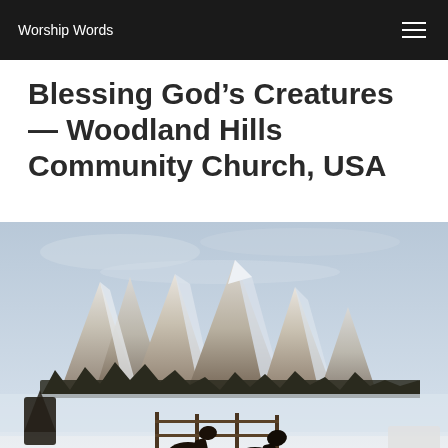Worship Words
Blessing God’s Creatures — Woodland Hills Community Church, USA
[Figure (illustration): Painting of two dark horses standing near a wooden fence in a snow-covered field, with dramatic rocky Flatiron mountains and a grey sky in the background. Snow covers the foreground and the mountains.]